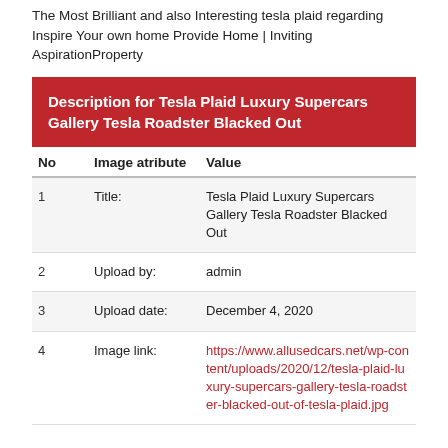The Most Brilliant and also Interesting tesla plaid regarding Inspire Your own home Provide Home | Inviting AspirationProperty
Description for Tesla Plaid Luxury Supercars Gallery Tesla Roadster Blacked Out
| No | Image atribute | Value |
| --- | --- | --- |
| 1 | Title: | Tesla Plaid Luxury Supercars Gallery Tesla Roadster Blacked Out |
| 2 | Upload by: | admin |
| 3 | Upload date: | December 4, 2020 |
| 4 | Image link: | https://www.allusedcars.net/wp-content/uploads/2020/12/tesla-plaid-luxury-supercars-gallery-tesla-roadster-blacked-out-of-tesla-plaid.jpg |